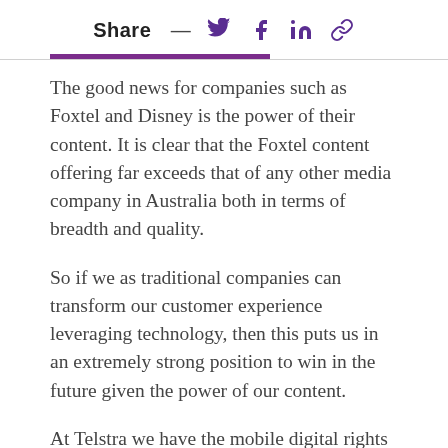Share — [Twitter] [Facebook] [LinkedIn] [Link]
The good news for companies such as Foxtel and Disney is the power of their content. It is clear that the Foxtel content offering far exceeds that of any other media company in Australia both in terms of breadth and quality.
So if we as traditional companies can transform our customer experience leveraging technology, then this puts us in an extremely strong position to win in the future given the power of our content.
At Telstra we have the mobile digital rights for both the AFL and NRL until 2022. We have recently invested significantly in these apps which are providing an amazing experience